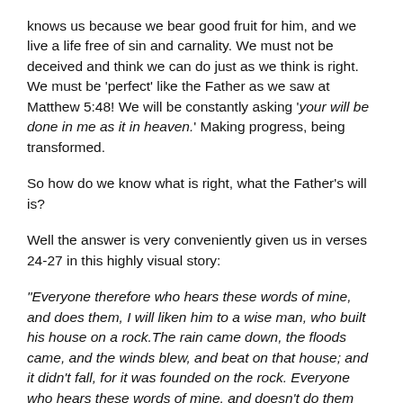knows us because we bear good fruit for him, and we live a life free of sin and carnality. We must not be deceived and think we can do just as we think is right. We must be 'perfect' like the Father as we saw at Matthew 5:48! We will be constantly asking 'your will be done in me as it in heaven.' Making progress, being transformed.
So how do we know what is right, what the Father's will is?
Well the answer is very conveniently given us in verses 24-27 in this highly visual story:
“Everyone therefore who hears these words of mine, and does them, I will liken him to a wise man, who built his house on a rock.The rain came down, the floods came, and the winds blew, and beat on that house; and it didn’t fall, for it was founded on the rock. Everyone who hears these words of mine, and doesn’t do them will be like a foolish